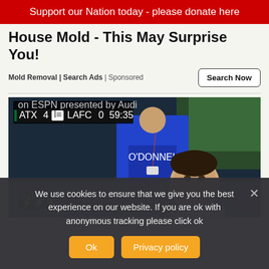Support our Nation today - please donate here
House Mold - This May Surprise You!
Mold Removal | Search Ads | Sponsored
[Figure (photo): Soccer player Gareth Bale sitting on the bench during an ESPN MLS match showing ATX 4 vs LAFC 0 at 59:35]
We use cookies to ensure that we give you the best experience on our website. If you are ok with anonymous tracking please click ok